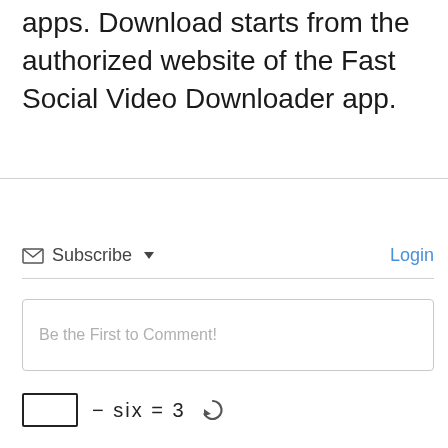apps. Download starts from the authorized website of the Fast Social Video Downloader app.
Subscribe ▼   Login
Be the First to Comment!
□ − six = 3 ↻